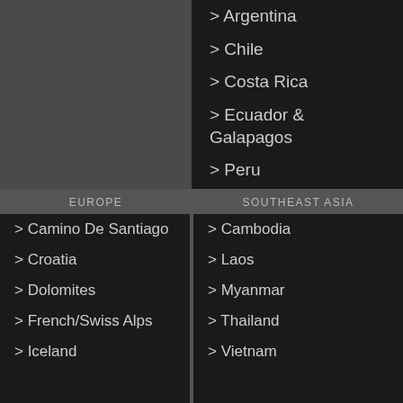> Argentina
> Chile
> Costa Rica
> Ecuador & Galapagos
> Peru
EUROPE
SOUTHEAST ASIA
> Camino De Santiago
> Croatia
> Dolomites
> French/Swiss Alps
> Iceland
> Cambodia
> Laos
> Myanmar
> Thailand
> Vietnam